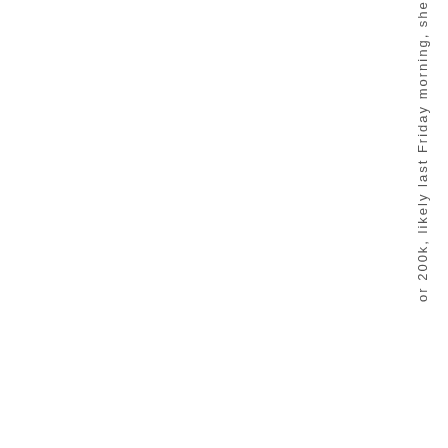or 200k, likely last Friday morning, she